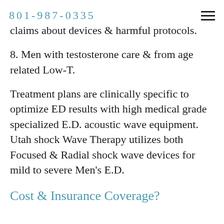801-987-0335
claims about devices & harmful protocols.
8. Men with testosterone care & from age related Low-T.
Treatment plans are clinically specific to optimize ED results with high medical grade specialized E.D. acoustic wave equipment. Utah shock Wave Therapy utilizes both Focused & Radial shock wave devices for mild to severe Men's E.D.
Cost & Insurance Coverage?